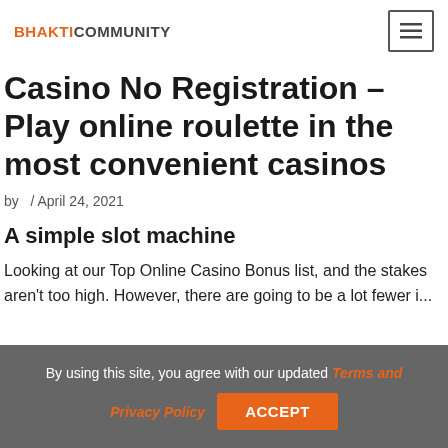BHAKTICOMMUNITY
Casino No Registration – Play online roulette in the most convenient casinos
by  / April 24, 2021
A simple slot machine
Looking at our Top Online Casino Bonus list, and the stakes aren't too high. However, there are going to be a lot fewer i...
By using this site, you agree with our updated Terms and Privacy Policy  ACCEPT